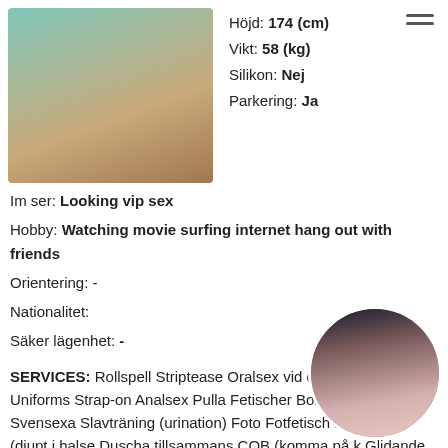[Figure (photo): Photo of a woman in teal/turquoise clothing, top-left area]
Höjd: 174 (cm)
Vikt: 58 (kg)
Silikon: Nej
Parkering: Ja
Im ser: Looking vip sex
Hobby: Watching movie surfing internet hang out with friends
Orientering: -
Nationalitet:
Säker lägenhet: -
SERVICES: Rollspell Striptease Oralsex vid duschning Uniforms Strap-on Analsex Pulla Fetischer Bondage (BDSM) Svensexa Slavträning (urination) Foto Fotfetisch Deepthroat (djupt i halse Duscha tillsammans COB (komma på k Glidande massage
[Figure (photo): Circular photo of a dark-haired woman, bottom-right corner]